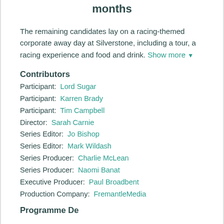months
The remaining candidates lay on a racing-themed corporate away day at Silverstone, including a tour, a racing experience and food and drink. Show more ▼
Contributors
Participant: Lord Sugar
Participant: Karren Brady
Participant: Tim Campbell
Director: Sarah Carnie
Series Editor: Jo Bishop
Series Editor: Mark Wildash
Series Producer: Charlie McLean
Series Producer: Naomi Banat
Executive Producer: Paul Broadbent
Production Company: FremantleMedia
Programme Details